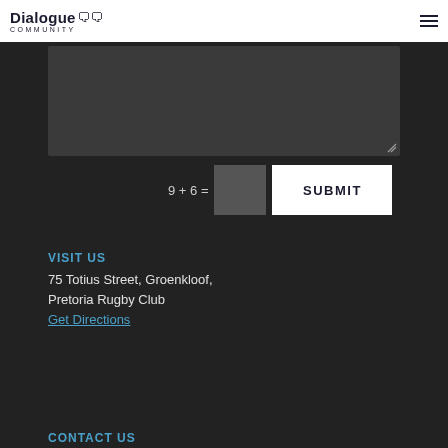Dialogue community
[Figure (screenshot): Dark textarea form field with resize handle in bottom-right corner]
9 + 6 =
SUBMIT
VISIT US
75 Totius Street, Groenkloof,
Pretoria Rugby Club
Get Directions
CONTACT US